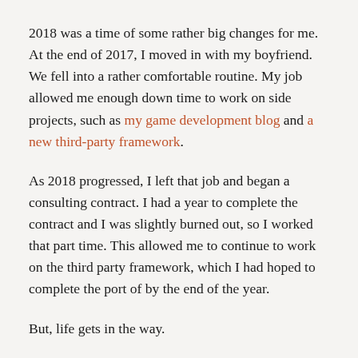2018 was a time of some rather big changes for me. At the end of 2017, I moved in with my boyfriend. We fell into a rather comfortable routine. My job allowed me enough down time to work on side projects, such as my game development blog and a new third-party framework.
As 2018 progressed, I left that job and began a consulting contract. I had a year to complete the contract and I was slightly burned out, so I worked that part time. This allowed me to continue to work on the third party framework, which I had hoped to complete the port of by the end of the year.
But, life gets in the way.
In March my loving boyfriend asked me to marry him. I joyfully accepted and we set a wedding date for September. I had already planned out what we were going to do. The wedding would be quite small. I figured that it wouldn't